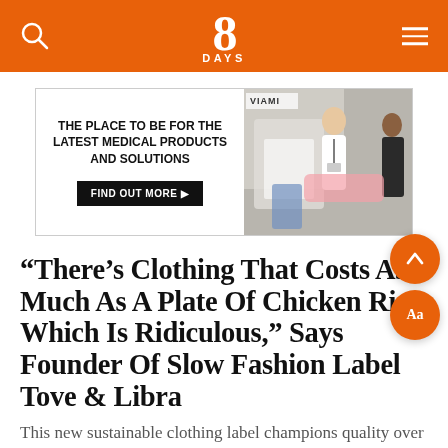8 DAYS
[Figure (photo): Advertisement banner for a medical products and solutions expo, with a photo of medical personnel at a booth on the right and text 'THE PLACE TO BE FOR THE LATEST MEDICAL PRODUCTS AND SOLUTIONS' with a 'FIND OUT MORE' button on the left.]
“There’s Clothing That Costs As Much As A Plate Of Chicken Rice, Which Is Ridiculous,” Says Founder Of Slow Fashion Label Tove & Libra
This new sustainable clothing label champions quality over quantity, and wants you to quit Taobao and fast fashion, maybe.